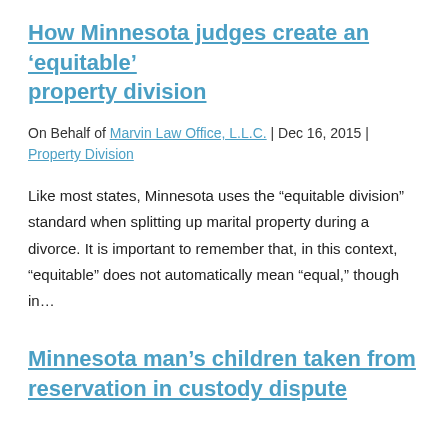How Minnesota judges create an ‘equitable’ property division
On Behalf of Marvin Law Office, L.L.C. | Dec 16, 2015 | Property Division
Like most states, Minnesota uses the “equitable division” standard when splitting up marital property during a divorce. It is important to remember that, in this context, “equitable” does not automatically mean “equal,” though in…
Minnesota man’s children taken from reservation in custody dispute